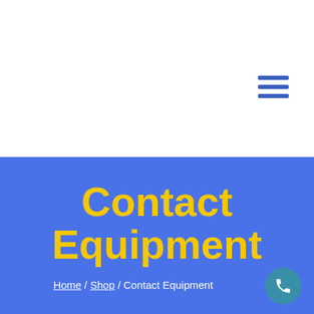[Figure (other): Hamburger menu icon with three horizontal blue lines in upper right area of white header section]
Contact Equipment
Home / Shop / Contact Equipment
[Figure (other): Circular teal phone/call button in bottom right corner]